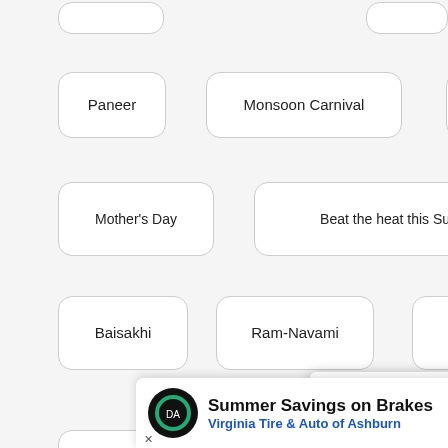(partial top row buttons, cut off)
Paneer
Monsoon Carnival
Dals of India
Mother's Day
Beat the heat this Summer
Easter
Baisakhi
Ram-Navami
Gudi Padwa
[Figure (screenshot): Featured Recipes overlay panel showing 'How to make Paneer Tikka Masala Bunny Chow, recipe by MasterChef Sanjeev Kapoor' with food photo and blue FEATURED RECIPES sidebar label. Close button (x) in top right.]
Summer Coolers
International Women'...
Mak... h (partially visible)
[Figure (screenshot): Advertisement banner: Summer Savings on Brakes – Virginia Tire & Auto of Ashburn, with tire logo and blue arrow icon.]